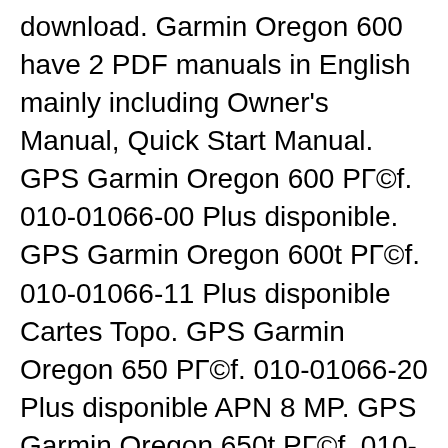download. Garmin Oregon 600 have 2 PDF manuals in English mainly including Owner's Manual, Quick Start Manual. GPS Garmin Oregon 600 РГ©f. 010-01066-00 Plus disponible. GPS Garmin Oregon 600t РГ©f. 010-01066-11 Plus disponible Cartes Topo. GPS Garmin Oregon 650 РГ©f. 010-01066-20 Plus disponible APN 8 MP. GPS Garmin Oregon 650t РГ©f. 010-01066-31 Plus disponible Cartes Topo + APN 8 MP. СaractГ©ristiques communes : Г©cran tactile multipoints Г  double sens de lecture, 3 pouces (diagonale), robuste
Hands on Garmin Oregon 650t review. The Garmin Oregon 650t is the companyвЂ™s top-of-the-line handheld